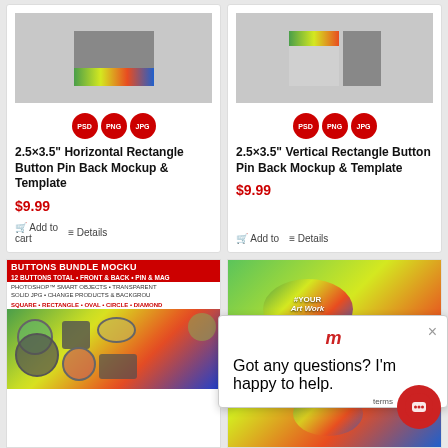[Figure (photo): Product mockup image for horizontal rectangle button with colorful background]
PSD PNG JPG
2.5×3.5" Horizontal Rectangle Button Pin Back Mockup & Template
$9.99
Add to cart  Details
[Figure (photo): Product mockup image for vertical rectangle button with colorful background]
PSD PNG JPG
2.5×3.5" Vertical Rectangle Button Pin Back Mockup & Template
$9.99
Add to cart  Details
[Figure (photo): Buttons Bundle Mockup product image showing multiple button types]
[Figure (photo): Oval button mockup with YOUR ART WORK HERE text]
Got any questions? I'm happy to help.